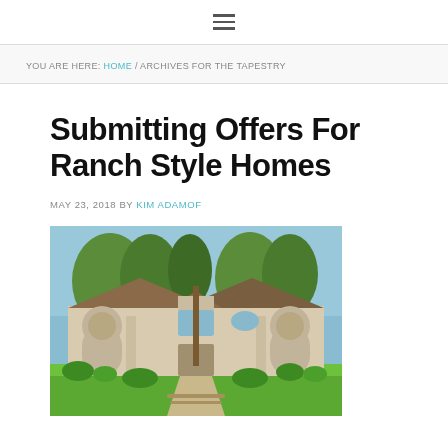≡ (navigation menu icon)
YOU ARE HERE: HOME / ARCHIVES FOR THE TAPESTRY
Submitting Offers For Ranch Style Homes
MAY 23, 2018 BY KIM ADAMOF
[Figure (photo): Exterior photo of a ranch style home with arched entryways, beige stucco siding, brown roofing, trees in foreground, lush green lawn, and landscaped shrubs.]